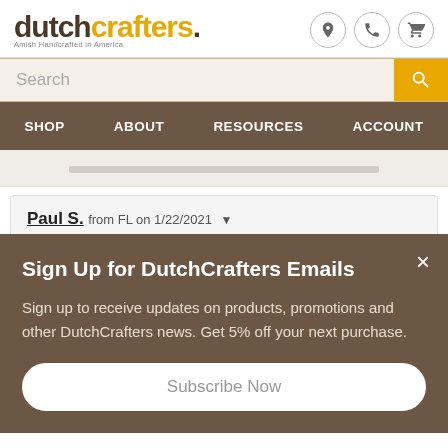dutchcrafters. Amish Handcrafted in America
Search
SHOP   ABOUT   RESOURCES   ACCOUNT
Paul S. from FL on 1/22/2021
Sign Up for DutchCrafters Emails
Sign up to receive updates on products, promotions and other DutchCrafters news. Get 5% off your next purchase.
Subscribe Now